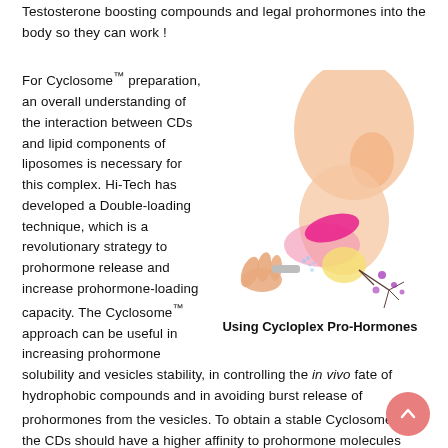Testosterone boosting compounds and legal prohormones into the body so they can work !
For Cyclosome™ preparation, an overall understanding of the interaction between CDs and lipid components of liposomes is necessary for this complex. Hi-Tech has developed a Double-loading technique, which is a revolutionary strategy to prohormone release and increase prohormone-loading capacity. The Cyclosome™ approach can be useful in increasing prohormone solubility and vesicles stability, in controlling the in vivo fate of hydrophobic compounds and in avoiding burst release of prohormones from the vesicles. To obtain a stable Cyclosome™, the CDs should have a higher affinity to prohormone molecules compared with liposomal membrane lipids. Cyclosomes prepared by Hi-Tech's double-loading technique are the most advanced targeted
[Figure (illustration): Medical illustration showing a cross-section of the mouth/throat area with a spray delivery mechanism showing Cycloplex Pro-Hormones delivery. Includes a hand holding a spray, tongue, and glandular tissue with branching structures.]
Using Cycloplex Pro-Hormones